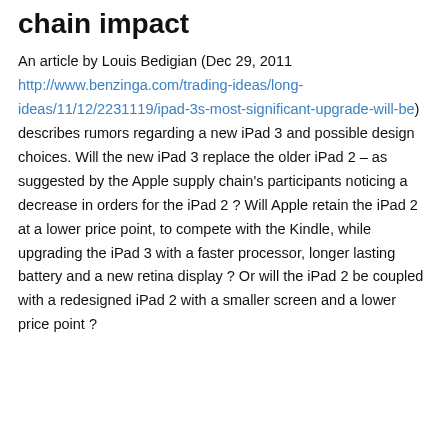chain impact
An article by Louis Bedigian (Dec 29, 2011 http://www.benzinga.com/trading-ideas/long-ideas/11/12/2231119/ipad-3s-most-significant-upgrade-will-be) describes rumors regarding a new iPad 3 and possible design choices. Will the new iPad 3 replace the older iPad 2 – as suggested by the Apple supply chain's participants noticing a decrease in orders for the iPad 2 ? Will Apple retain the iPad 2 at a lower price point, to compete with the Kindle, while upgrading the iPad 3 with a faster processor, longer lasting battery and a new retina display ? Or will the iPad 2 be coupled with a redesigned iPad 2 with a smaller screen and a lower price point ?